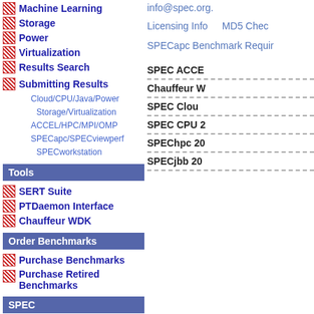Machine Learning
Storage
Power
Virtualization
Results Search
Submitting Results
Cloud/CPU/Java/Power
Storage/Virtualization
ACCEL/HPC/MPI/OMP
SPECapc/SPECviewperf
SPECworkstation
Tools
SERT Suite
PTDaemon Interface
Chauffeur WDK
Order Benchmarks
Purchase Benchmarks
Purchase Retired Benchmarks
SPEC
info@spec.org.
Licensing Info    MD5 Chec
SPECapc Benchmark Requir
SPEC ACCE
Chauffeur W
SPEC Clou
SPEC CPU 2
SPEChpc 20
SPECjbb 20